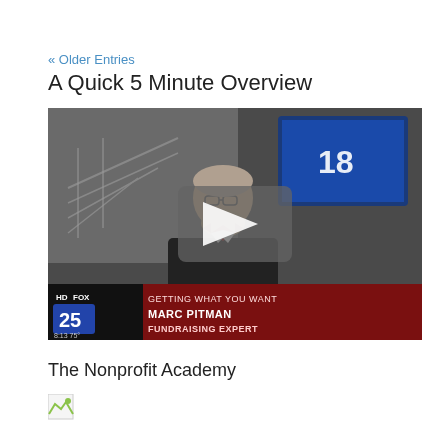« Older Entries
A Quick 5 Minute Overview
[Figure (screenshot): Fox 25 news video thumbnail showing Marc Pitman, Fundraising Expert, being interviewed on 'Getting What You Want'. A man with glasses and a bow tie is seated in a TV studio. There is a play button overlay in the center. Lower-third chyron reads: HD FOX 25 / GETTING WHAT YOU WANT / MARC PITMAN / FUNDRAISING EXPERT / 8:13 75°]
The Nonprofit Academy
[Figure (other): Broken/loading image placeholder icon]